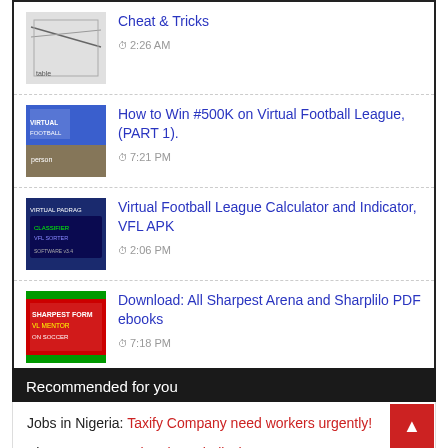Cheat & Tricks  2:26 AM
How to Win #500K on Virtual Football League, (PART 1).  7:21 PM
Virtual Football League Calculator and Indicator, VFL APK  2:06 PM
Download: All Sharpest Arena and Sharplilo PDF ebooks  7:18 PM
Bet9ja Zoom Soccer Cheats and Tricks, 100% Accurate  7:48 AM
Recommended for you
Jobs in Nigeria: Taxify Company need workers urgently!
Sharpest Arena: Virtual Football Cheat Prove &